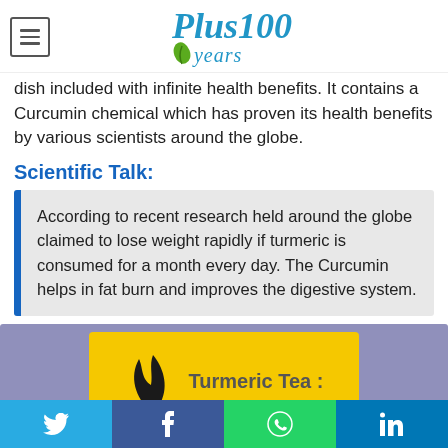Plus100years
dish included with infinite health benefits. It contains a Curcumin chemical which has proven its health benefits by various scientists around the globe.
Scientific Talk:
According to recent research held around the globe claimed to lose weight rapidly if turmeric is consumed for a month every day. The Curcumin helps in fat burn and improves the digestive system.
[Figure (illustration): Promotional image for Turmeric Tea with a yellow background card, a flame/leaf graphic icon, and the text 'Turmeric Tea :' on a purple/slate background]
Social share buttons: Twitter, Facebook, WhatsApp, LinkedIn